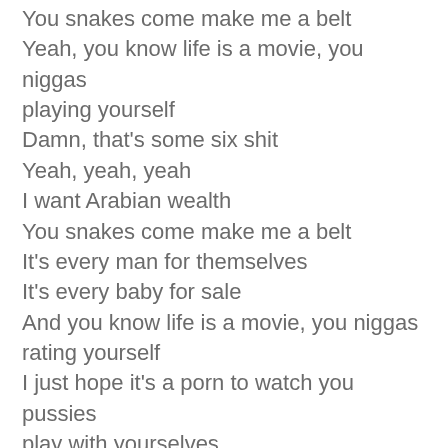You snakes come make me a belt
Yeah, you know life is a movie, you niggas playing yourself
Damn, that's some six shit
Yeah, yeah, yeah
I want Arabian wealth
You snakes come make me a belt
It's every man for themselves
It's every baby for sale
And you know life is a movie, you niggas rating yourself
I just hope it's a porn to watch you pussies play with yourselves
That's some six shit